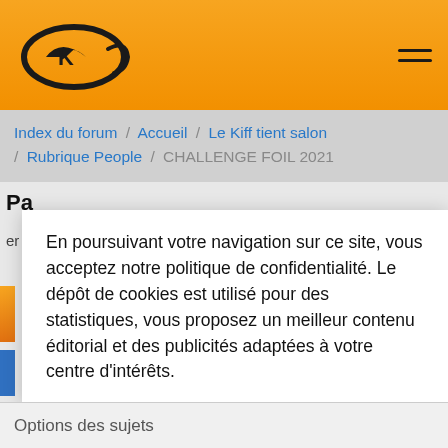Kiff forum logo header with hamburger menu
Index du forum / Accueil / Le Kiff tient salon / Rubrique People / CHALLENGE FOIL 2021
Pa
er
14
En poursuivant votre navigation sur ce site, vous acceptez notre politique de confidentialité. Le dépôt de cookies est utilisé pour des statistiques, vous proposez un meilleur contenu éditorial et des publicités adaptées à votre centre d'intérêts.
Consulter notre politique
Decline
Accepter les cookies
Options des sujets